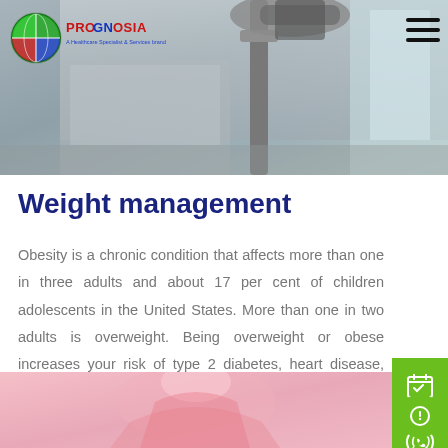[Figure (photo): Gym equipment (treadmill/exercise machine) in a fitness room, gray tones]
[Figure (logo): Prognobia logo: circular globe icon with red text PROGNOBIA and blue tagline]
Weight management
Obesity is a chronic condition that affects more than one in three adults and about 17 per cent of children adolescents in the United States. More than one in two adults is overweight. Being overweight or obese increases your risk of type 2 diabetes, heart disease, stroke, fatty liver disease, kidney disease, and other health issues.
[Figure (photo): Woman in pink top smiling, weight management context]